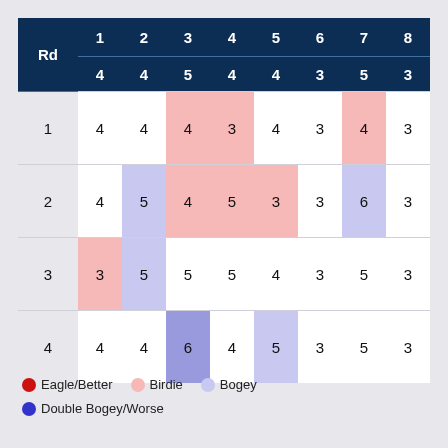| Rd | 1 | 2 | 3 | 4 | 5 | 6 | 7 | 8 |
| --- | --- | --- | --- | --- | --- | --- | --- | --- |
| Par | 4 | 4 | 5 | 4 | 4 | 3 | 5 | 3 |
| 1 | 4 | 4 | 4(birdie) | 3(birdie) | 4 | 3 | 4(birdie) | 3 |
| 2 | 4 | 5(bogey) | 4(birdie) | 5(birdie) | 3(birdie) | 3 | 6(bogey) | 3 |
| 3 | 3(birdie) | 5(bogey) | 5 | 5 | 4 | 3 | 5 | 3 |
| 4 | 4 | 4 | 6(dbl-bogey) | 4 | 5(bogey) | 3 | 5 | 3 |
Eagle/Better  Birdie  Bogey  Double Bogey/Worse